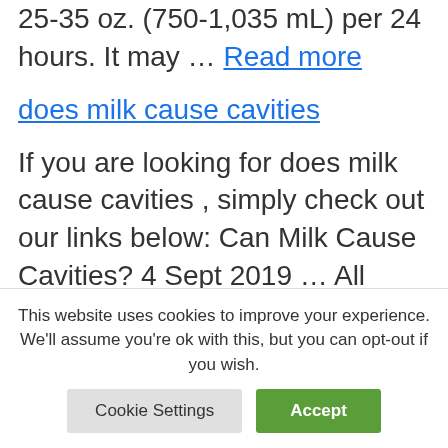25-35 oz. (750-1,035 mL) per 24 hours. It may … Read more
does milk cause cavities
If you are looking for does milk cause cavities , simply check out our links below: Can Milk Cause Cavities? 4 Sept 2019 … All types of milk can cause cavities if they are inappropriately consumed. For example, cavities on the upper front teeth can develop if … Is Milk Good…
This website uses cookies to improve your experience. We'll assume you're ok with this, but you can opt-out if you wish.
Cookie Settings
Accept